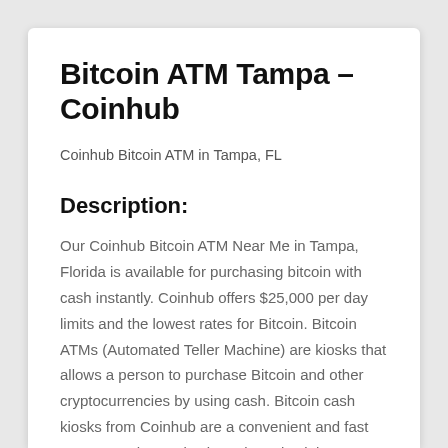Bitcoin ATM Tampa – Coinhub
Coinhub Bitcoin ATM in Tampa, FL
Description:
Our Coinhub Bitcoin ATM Near Me in Tampa, Florida is available for purchasing bitcoin with cash instantly. Coinhub offers $25,000 per day limits and the lowest rates for Bitcoin. Bitcoin ATMs (Automated Teller Machine) are kiosks that allows a person to purchase Bitcoin and other cryptocurrencies by using cash. Bitcoin cash kiosks from Coinhub are a convenient and fast way to purchase Bitcoin and receive it in